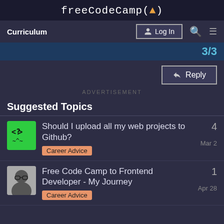freeCodeCamp(🔥)
Curriculum  Log In
3/3
Reply
ADVERTISEMENT
Suggested Topics
Should I upload all my web projects to Github?  Career Advice  Mar 2  4
Free Code Camp to Frontend Developer - My Journey  Career Advice  Apr 28  1